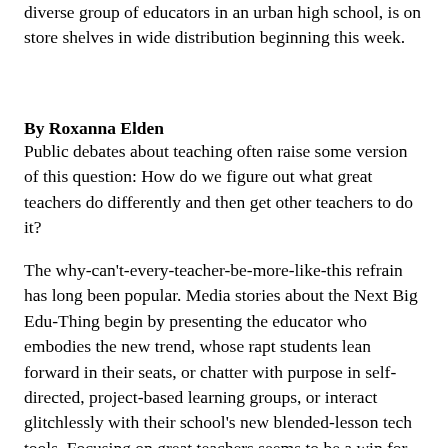diverse group of educators in an urban high school, is on store shelves in wide distribution beginning this week.
By Roxanna Elden
Public debates about teaching often raise some version of this question: How do we figure out what great teachers do differently and then get other teachers to do it?
The why-can't-every-teacher-be-more-like-this refrain has long been popular. Media stories about the Next Big Edu-Thing begin by presenting the educator who embodies the new trend, whose rapt students lean forward in their seats, or chatter with purpose in self-directed, project-based learning groups, or interact glitchlessly with their school's new blended-lesson tech tools. Focusing on great teachers seems to be a win for everyone — certainly, it's less fraught than being told what to do by administrators.